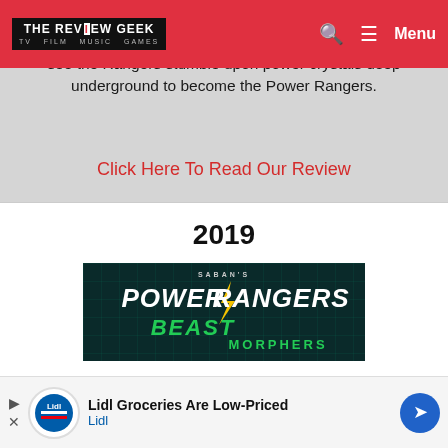THE REVIEW GEEK — TV FILM MUSIC GAMES | Menu
fore. Both the Rangers and Rita are given new stories while the ideas are changed slightly to see the Rangers stumble upon power crystals deep underground to become the Power Rangers.
Click Here To Read Our Review
2019
[Figure (illustration): Saban's Power Rangers Beast Morphers logo on dark teal sci-fi background with lightning bolt emblem]
Power Rangers Beast Morphers
[Figure (infographic): Lidl Groceries Are Low-Priced advertisement banner with Lidl logo and navigation arrow]